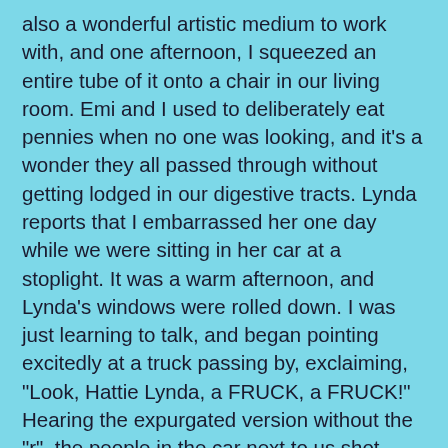also a wonderful artistic medium to work with, and one afternoon, I squeezed an entire tube of it onto a chair in our living room. Emi and I used to deliberately eat pennies when no one was looking, and it's a wonder they all passed through without getting lodged in our digestive tracts. Lynda reports that I embarrassed her one day while we were sitting in her car at a stoplight. It was a warm afternoon, and Lynda's windows were rolled down. I was just learning to talk, and began pointing excitedly at a truck passing by, exclaiming, "Look, Hattie Lynda, a FRUCK, a FRUCK!" Hearing the expurgated version without the "r", the people in the car next to us shot Lynda disapproving glances, shaking their heads in disgust at my wanton use of expletives.

    In 1970, we moved to Osawatomie, Kansas. By then, Adam was two, and Mom was pregnant with Peter. Mom was the director of psychiatric nursing at the state mental hospital across the street, where both she and Dad worked, and she recruited some of her nursing students to babysit us. Ruth was our first student nurse babysitter, and she was shy and nice. We really liked her. After Ruth graduated, there was a succession of other nursing students, and overall, I think Adam, Peter, Emi, and I were pretty well